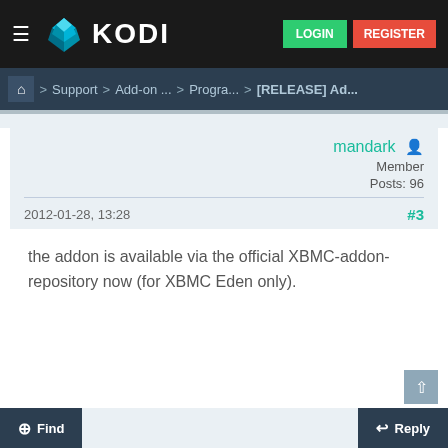KODI — LOGIN  REGISTER
Home > Support > Add-on ... > Progra... > [RELEASE] Ad...
mandark  Member  Posts: 96
2012-01-28, 13:28  #3
the addon is available via the official XBMC-addon-repository now (for XBMC Eden only).